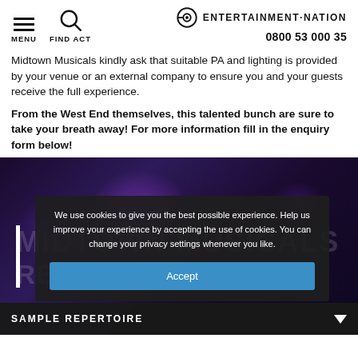MENU | FIND ACT | ENTERTAINMENT·NATION | 0800 53 000 35
Midtown Musicals kindly ask that suitable PA and lighting is provided by your venue or an external company to ensure you and your guests receive the full experience.
From the West End themselves, this talented bunch are sure to take your breath away! For more information fill in the enquiry form below!
[Figure (screenshot): Dark purple-toned background image with ghost text reading MIDTOWN MUSICALS and REPERTOIRE, a white left-side bar, and a cookie consent overlay dialog with Accept button. At the bottom a dark bar reads SAMPLE REPERTOIRE with a down arrow.]
We use cookies to give you the best possible experience. Help us improve your experience by accepting the use of cookies. You can change your privacy settings whenever you like.
Accept
SAMPLE REPERTOIRE